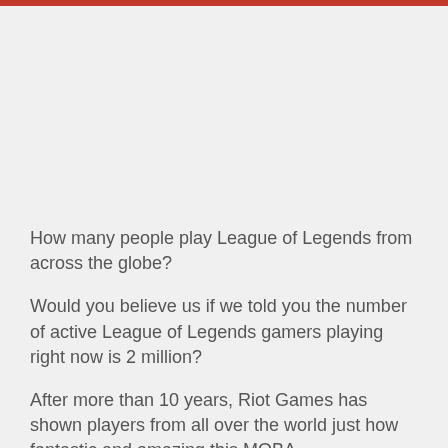How many people play League of Legends from across the globe?
Would you believe us if we told you the number of active League of Legends gamers playing right now is 2 million?
After more than 10 years, Riot Games has shown players from all over the world just how fantastic and amazing this MOBA game is...